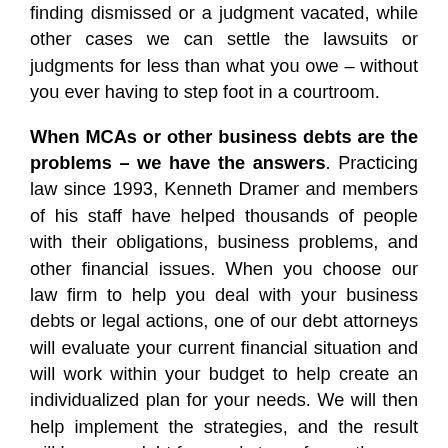finding dismissed or a judgment vacated, while other cases we can settle the lawsuits or judgments for less than what you owe – without you ever having to step foot in a courtroom.
When MCAs or other business debts are the problems – we have the answers. Practicing law since 1993, Kenneth Dramer and members of his staff have helped thousands of people with their obligations, business problems, and other financial issues. When you choose our law firm to help you deal with your business debts or legal actions, one of our debt attorneys will evaluate your current financial situation and will work within your budget to help create an individualized plan for your needs. We will then help implement the strategies, and the result will be you – debt free and stress-free – the way life should be!